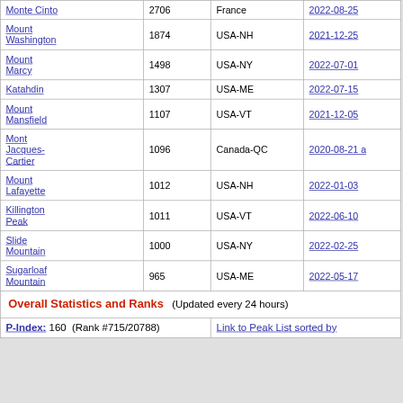| Peak | m | Location | Date |
| --- | --- | --- | --- |
| Monte Cinto | 2706 | France | 2022-08-25 |
| Mount Washington | 1874 | USA-NH | 2021-12-25 |
| Mount Marcy | 1498 | USA-NY | 2022-07-01 |
| Katahdin | 1307 | USA-ME | 2022-07-15 |
| Mount Mansfield | 1107 | USA-VT | 2021-12-05 |
| Mont Jacques-Cartier | 1096 | Canada-QC | 2020-08-21 a |
| Mount Lafayette | 1012 | USA-NH | 2022-01-03 |
| Killington Peak | 1011 | USA-VT | 2022-06-10 |
| Slide Mountain | 1000 | USA-NY | 2022-02-25 |
| Sugarloaf Mountain | 965 | USA-ME | 2022-05-17 |
Overall Statistics and Ranks   (Updated every 24 hours)
P-Index: 160  (Rank #715/20788)
Link to Peak List sorted by